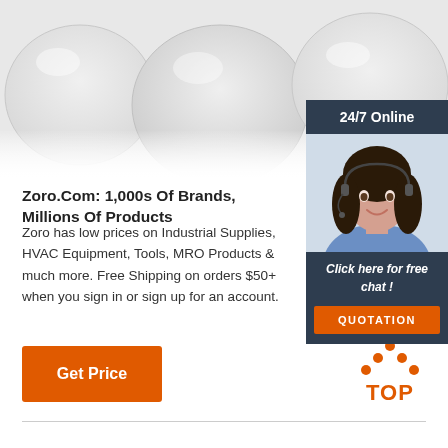[Figure (photo): White/grey rounded smooth stones on grey background at top of page]
[Figure (illustration): 24/7 Online customer service panel with woman wearing headset, 'Click here for free chat!' text, and QUOTATION button]
Zoro.Com: 1,000s Of Brands, Millions Of Products
Zoro has low prices on Industrial Supplies, HVAC Equipment, Tools, MRO Products & much more. Free Shipping on orders $50+ when you sign in or sign up for an account.
[Figure (illustration): Orange 'Get Price' button]
[Figure (logo): TOP logo with orange dots arranged in triangle above orange TOP text]